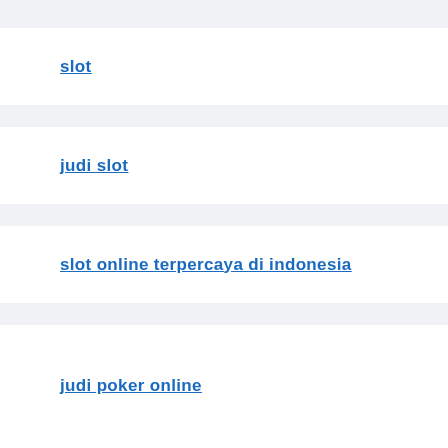slot
judi slot
slot online terpercaya di indonesia
judi poker online